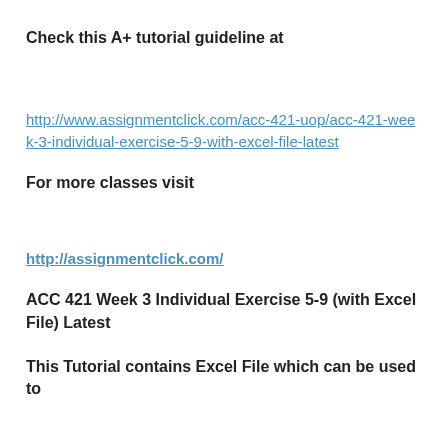Check this A+ tutorial guideline at
http://www.assignmentclick.com/acc-421-uop/acc-421-week-3-individual-exercise-5-9-with-excel-file-latest
For more classes visit
http://assignmentclick.com/
ACC 421 Week 3 Individual Exercise 5-9 (with Excel File) Latest
This Tutorial contains Excel File which can be used to